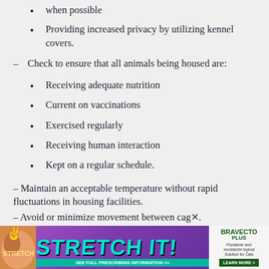when possible
Providing increased privacy by utilizing kennel covers.
– Check to ensure that all animals being housed are:
Receiving adequate nutrition
Current on vaccinations
Exercised regularly
Receiving human interaction
Kept on a regular schedule.
– Maintain an acceptable temperature without rapid fluctuations in housing facilities.
– Avoid or minimize movement between cages.
– Spo… keep the sa… es
[Figure (advertisement): STRETCH IT! advertisement banner with Bravecto Plus product and teal/purple background]